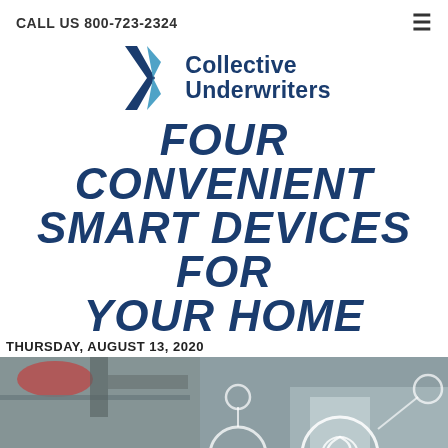CALL US 800-723-2324
[Figure (logo): Collective Underwriters logo with stylized X/bird shape in dark teal and light blue]
FOUR CONVENIENT SMART DEVICES FOR YOUR HOME
THURSDAY, AUGUST 13, 2020
[Figure (photo): Blurred kitchen background with white IoT/smart home network icons overlaid, showing connected circles representing smart devices]